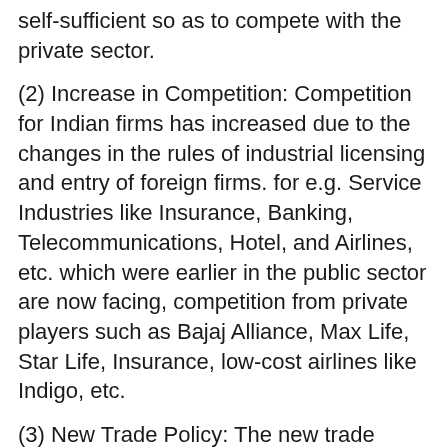self-sufficient so as to compete with the private sector.
(2) Increase in Competition: Competition for Indian firms has increased due to the changes in the rules of industrial licensing and entry of foreign firms. for e.g. Service Industries like Insurance, Banking, Telecommunications, Hotel, and Airlines, etc. which were earlier in the public sector are now facing, competition from private players such as Bajaj Alliance, Max Life, Star Life, Insurance, low-cost airlines like Indigo, etc.
(3) New Trade Policy: The new trade policy has helped the Indian Firms to enter into foreign markets and earn the foreign exchange required for importing raw materials, spare parts and components they needed t for keeping their production lines going.
(4) Demanding Customers: Today's market is